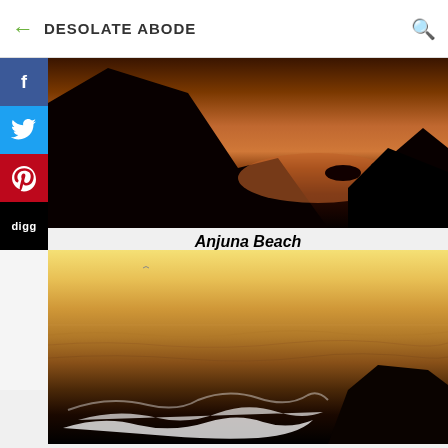DESOLATE ABODE
[Figure (photo): Dark silhouette of rocks against glowing orange/red sunset water at Anjuna Beach]
Anjuna Beach
[Figure (photo): Warm golden sunset over the sea with waves crashing on rocks at Anjuna Beach, North Goa]
Anjuna Beach, North Goa